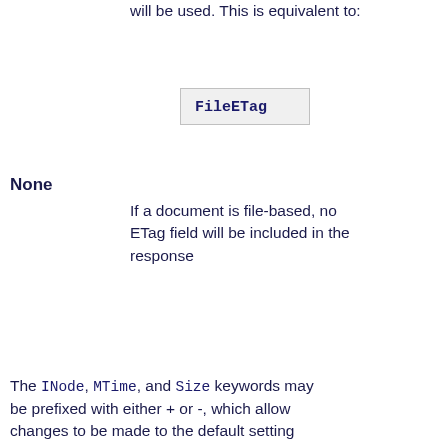will be used. This is equivalent to:
[Figure (screenshot): Code box showing: FileETag]
None
If a document is file-based, no ETag field will be included in the response
The INode, MTime, and Size keywords may be prefixed with either + or -, which allow changes to be made to the default setting inherited from a broader scope. Any keyword appearing without such a prefix immediately and completely cancels the inherited setting.